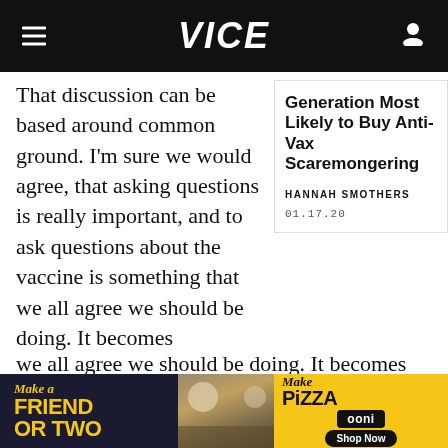VICE
That discussion can be based around common ground. I'm sure we would agree, that asking questions is really important, and to ask questions about the vaccine is something that we all agree we should be doing. It becomes
Generation Most Likely to Buy Anti-Vax Scaremongering
HANNAH SMOTHERS
01.17.20
[Figure (illustration): Advertisement banner for Ooni pizza oven: left dark section with yellow text 'Make a FRIEND OR TWO', center photo of people and dogs at a picnic with pizza, right yellow section with 'Make Pizza', 'ooni' badge, and 'Shop Now' button.]